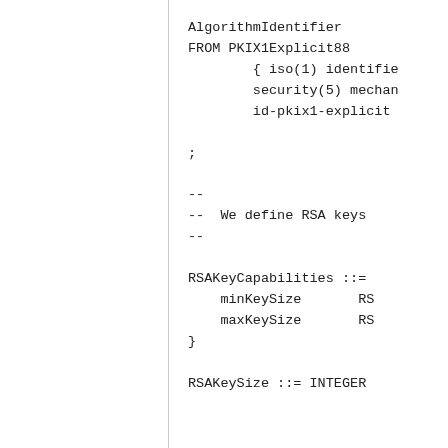AlgorithmIdentifier
FROM PKIX1Explicit88
        { iso(1) identifie
        security(5) mechan
        id-pkix1-explicit

;

--
--  We define RSA keys
--

RSAKeyCapabilities ::=
    minKeySize       RS
    maxKeySize       RS
}

RSAKeySize ::= INTEGER